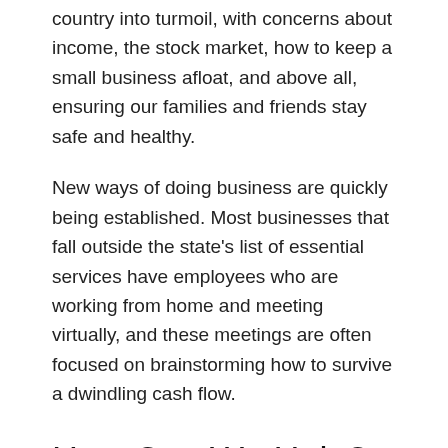country into turmoil, with concerns about income, the stock market, how to keep a small business afloat, and above all, ensuring our families and friends stay safe and healthy.
New ways of doing business are quickly being established. Most businesses that fall outside the state's list of essential services have employees who are working from home and meeting virtually, and these meetings are often focused on brainstorming how to survive a dwindling cash flow.
How Can We Help?
We rely on small businesses in our community to